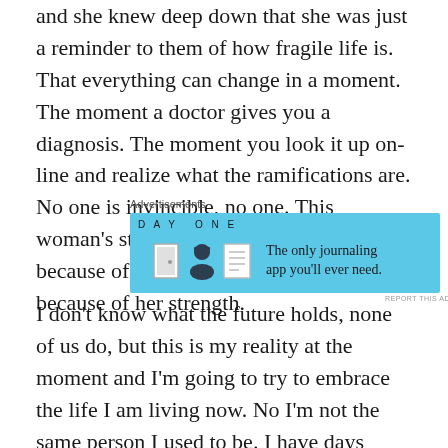and she knew deep down that she was just a reminder to them of how fragile life is. That everything can change in a moment. The moment a doctor gives you a diagnosis. The moment you look it up on-line and realize what the ramifications are. No one is invincible, no one. This woman's story touched me not only because of the loss of her child but because of her strength.
[Figure (screenshot): Advertisement banner for Day One journaling app on a light blue background with three icons (door, person, document) and text 'The only journaling app you'll ever need.']
I don't know what the future holds, none of us do, but this is my reality at the moment and I'm going to try to embrace the life I am living now. No I'm not the same person I used to be. I have days when I feel extremely depressed and don't think I can take this anymore, but if I really think about it, I still have so many good things in my